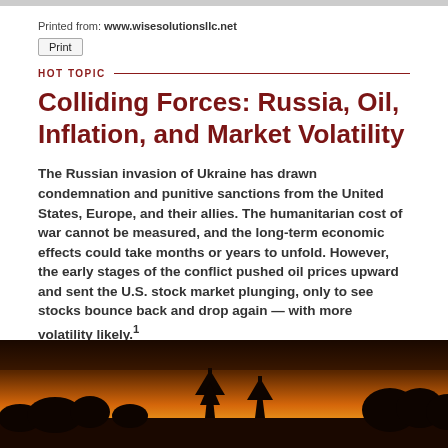Printed from: www.wisesolutionsllc.net
Print
HOT TOPIC
Colliding Forces: Russia, Oil, Inflation, and Market Volatility
The Russian invasion of Ukraine has drawn condemnation and punitive sanctions from the United States, Europe, and their allies. The humanitarian cost of war cannot be measured, and the long-term economic effects could take months or years to unfold. However, the early stages of the conflict pushed oil prices upward and sent the U.S. stock market plunging, only to see stocks bounce back and drop again — with more volatility likely.¹
[Figure (photo): Sunset silhouette photo with oil derricks/industrial equipment against an orange sky]